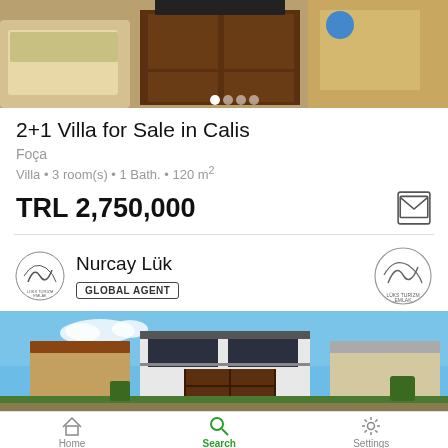[Figure (photo): Interior room photo showing cushioned furniture, wooden cabinet, and AC unit on wall, with image carousel dots at bottom]
2+1 Villa for Sale in Calis
Foça
Villa • 3 room(s) • 1 Bath. • 120 m²
TRL 2,750,000
Nurcay Lük
GLOBAL AGENT
[Figure (photo): Exterior photo of a modern two-story villa with large windows, wooden gate, blue sky, and surrounding neighborhood houses]
Home   Search   Settings